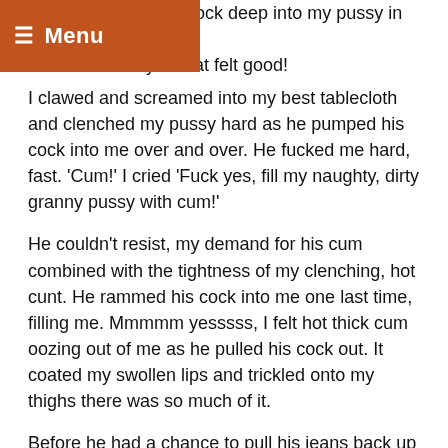≡ Menu
slammed his whole cock deep into my pussy in one hard mmmmm fuck yes that felt good!
I clawed and screamed into my best tablecloth and clenched my pussy hard as he pumped his cock into me over and over. He fucked me hard, fast. 'Cum!' I cried 'Fuck yes, fill my naughty, dirty granny pussy with cum!'
He couldn't resist, my demand for his cum combined with the tightness of my clenching, hot cunt. He rammed his cock into me one last time, filling me. Mmmmm yesssss, I felt hot thick cum oozing out of me as he pulled his cock out. It coated my swollen lips and trickled onto my thighs there was so much of it.
Before he had a chance to pull his jeans back up I turned and dropped to my knees once again. Slowly I lapped at his cum covered cock, cleaning his cum and mine, mmmmmm savouring the taste from every drop.
He was starting to grow hard again, mmmmmm I could